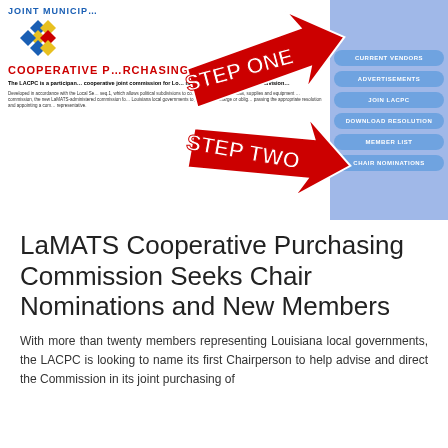[Figure (screenshot): Screenshot of the LaMATS / LACPC Joint Municipal Cooperative Purchasing website showing logo with diamond shapes, COOPERATIVE PURCHASING heading in red, descriptive text about LACPC being a participant in cooperative joint commission for Louisiana municipalities, a 'Step One' and 'Step Two' arrow graphic overlay, and a right navigation panel with blue rounded buttons: CURRENT VENDORS, ADVERTISEMENTS, JOIN LACPC, DOWNLOAD RESOLUTION, MEMBER LIST, CHAIR NOMINATIONS.]
LaMATS Cooperative Purchasing Commission Seeks Chair Nominations and New Members
With more than twenty members representing Louisiana local governments, the LACPC is looking to name its first Chairperson to help advise and direct the Commission in its joint purchasing of